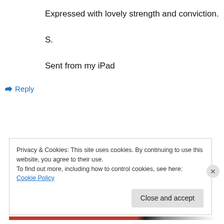Expressed with lovely strength and conviction.
S.
Sent from my iPad
↪ Reply
Privacy & Cookies: This site uses cookies. By continuing to use this website, you agree to their use.
To find out more, including how to control cookies, see here: Cookie Policy
Close and accept